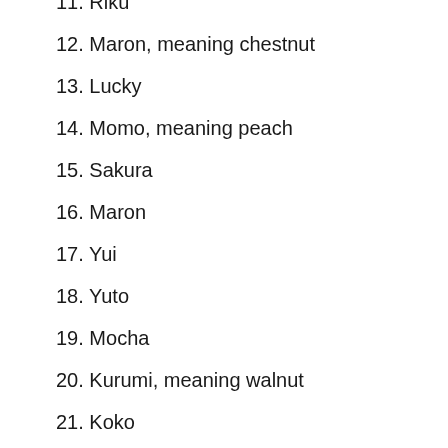11. Riku
12. Maron, meaning chestnut
13. Lucky
14. Momo, meaning peach
15. Sakura
16. Maron
17. Yui
18. Yuto
19. Mocha
20. Kurumi, meaning walnut
21. Koko